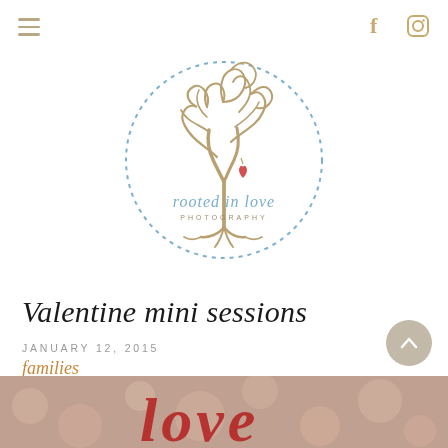Navigation bar with hamburger menu, Facebook icon, Instagram icon
[Figure (logo): Rooted in Love Photography logo: decorative tree with curling branches and roots, a small red heart hanging from a branch, text 'rooted in love photography' below the tree, all enclosed in a dotted circle border]
Valentine mini sessions
JANUARY 12, 2015
families
[Figure (photo): Bokeh background photo with blurred warm pinkish-red tones showing what appears to be decorative red letter shapes, partially visible at bottom of page]